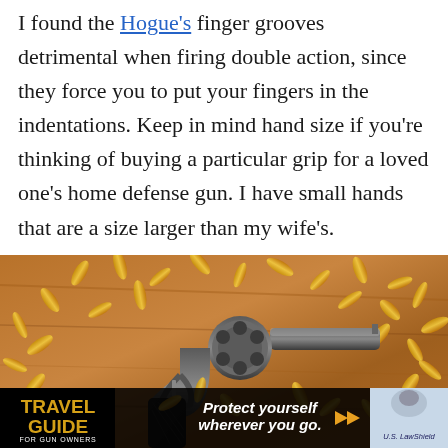I found the Hogue's finger grooves detrimental when firing double action, since they force you to put your fingers in the indentations. Keep in mind hand size if you're thinking of buying a particular grip for a loved one's home defense gun. I have small hands that are a size larger than my wife's.
[Figure (photo): A revolver handgun surrounded by scattered brass bullet casings on a wooden surface. In the lower portion of the image, an advertisement banner overlays the photo showing 'Travel Guide for Gun Owners' logo on the left and 'Protect yourself wherever you go.' text with play arrows, and US LawShield branding on the right.]